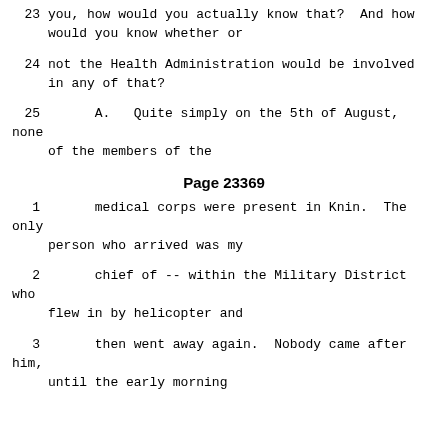23      you, how would you actually know that?  And how would you know whether or
24      not the Health Administration would be involved in any of that?
25      A.   Quite simply on the 5th of August, none of the members of the
Page 23369
1       medical corps were present in Knin.  The only person who arrived was my
2       chief of -- within the Military District who flew in by helicopter and
3       then went away again.  Nobody came after him, until the early morning